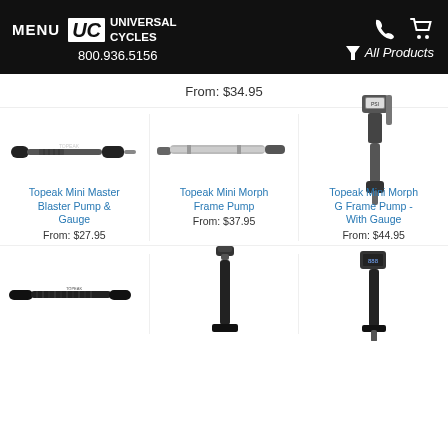MENU | UC UNIVERSAL CYCLES | 800.936.5156 | All Products
From: $34.95
[Figure (photo): Topeak Mini Master Blaster Pump & Gauge product photo]
Topeak Mini Master Blaster Pump & Gauge
From: $27.95
[Figure (photo): Topeak Mini Morph Frame Pump product photo]
Topeak Mini Morph Frame Pump
From: $37.95
[Figure (photo): Topeak Mini Morph G Frame Pump - With Gauge product photo]
Topeak Mini Morph G Frame Pump - With Gauge
From: $44.95
[Figure (photo): Bicycle pump product photo (bottom left)]
[Figure (photo): Bicycle pump product photo (bottom center)]
[Figure (photo): Bicycle pump product photo (bottom right)]